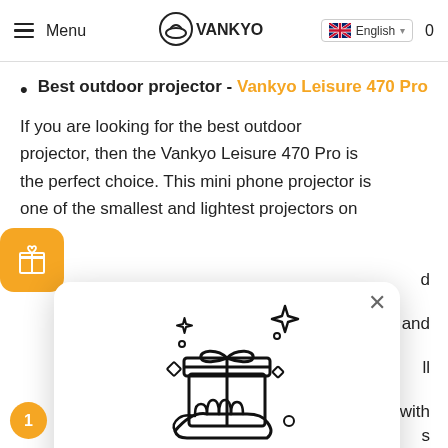Menu | VANKYO | English | 0
Best outdoor projector - Vankyo Leisure 470 Pro
If you are looking for the best outdoor projector, then the Vankyo Leisure 470 Pro is the perfect choice. This mini phone projector is one of the smallest and lightest projectors on [the market] and [features] [will] [work] with [various] Boost. Overall, this is an amazing projector that will provide you with a truly unforgettable
[Figure (illustration): Modal popup with gift box illustration and sparkles on a white card with close button]
Discover our rewards experience!